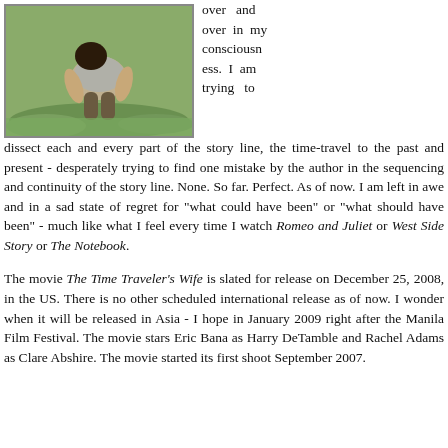[Figure (photo): A person crouching or bending over on green grass, seen from behind/side, wearing a grey shirt]
over and over in my consciousness. I am trying to dissect each and every part of the story line, the time-travel to the past and present - desperately trying to find one mistake by the author in the sequencing and continuity of the story line. None. So far. Perfect. As of now. I am left in awe and in a sad state of regret for "what could have been" or "what should have been" - much like what I feel every time I watch Romeo and Juliet or West Side Story or The Notebook.
The movie The Time Traveler's Wife is slated for release on December 25, 2008, in the US. There is no other scheduled international release as of now. I wonder when it will be released in Asia - I hope in January 2009 right after the Manila Film Festival. The movie stars Eric Bana as Harry DeTamble and Rachel Adams as Clare Abshire. The movie started its first shoot September 2007.